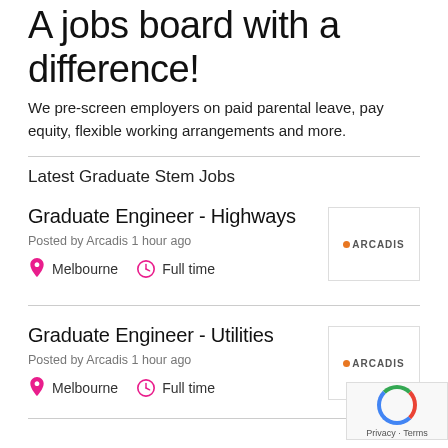A jobs board with a difference!
We pre-screen employers on paid parental leave, pay equity, flexible working arrangements and more.
Latest Graduate Stem Jobs
Graduate Engineer - Highways
Posted by Arcadis 1 hour ago
Melbourne · Full time
[Figure (logo): Arcadis company logo]
Graduate Engineer - Utilities
Posted by Arcadis 1 hour ago
Melbourne · Full time
[Figure (logo): Arcadis company logo]